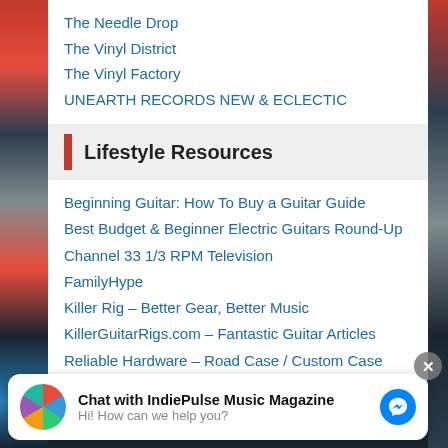The Needle Drop
The Vinyl District
The Vinyl Factory
UNEARTH RECORDS NEW & ECLECTIC
Lifestyle Resources
Beginning Guitar: How To Buy a Guitar Guide
Best Budget & Beginner Electric Guitars Round-Up
Channel 33 1/3 RPM Television
FamilyHype
Killer Rig – Better Gear, Better Music
KillerGuitarRigs.com – Fantastic Guitar Articles
Reliable Hardware – Road Case / Custom Case Equipment
Rhythm 1059fm Radio
Chat with IndiePulse Music Magazine
Hi! How can we help you?